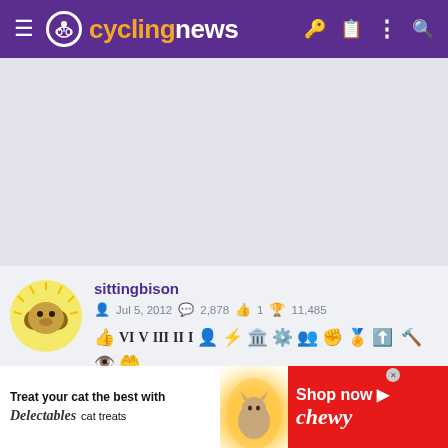cyclingnews
[Figure (screenshot): Gray blank advertisement area placeholder]
sittingbison
Jul 5, 2012  2,878  1  11,485
[Figure (infographic): User achievement badges row: thumbs up, VI, V, III, II, I, person, lightning, podium, gear, group, fist, trophy, arrow, hammer, eye, hand icons]
[Figure (infographic): Bottom advertisement: Treat your cat the best with Delectables cat treats. Shop now - Chewy]
Treat your cat the best with Delectables cat treats  Shop now chewy